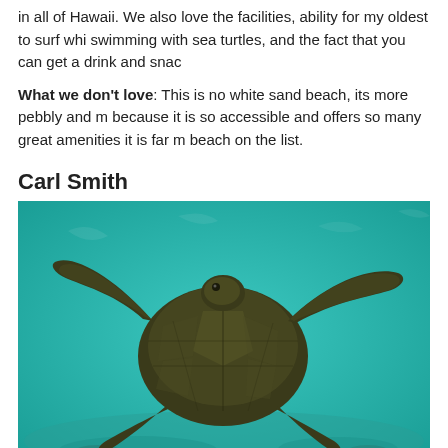in all of Hawaii. We also love the facilities, ability for my oldest to surf whi swimming with sea turtles, and the fact that you can get a drink and snac
What we don't love: This is no white sand beach, its more pebbly and r because it is so accessible and offers so many great amenities it is far m beach on the list.
Carl Smith
[Figure (photo): Underwater photograph of a green sea turtle swimming in turquoise/teal water above a sandy/rocky seabed.]